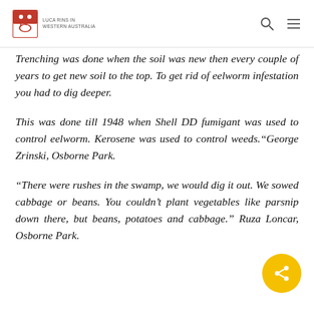Luca Rins in Western Australia
Trenching was done when the soil was new then every couple of years to get new soil to the top. To get rid of eelworm infestation you had to dig deeper.
This was done till 1948 when Shell DD fumigant was used to control eelworm. Kerosene was used to control weeds.“George Zrinski, Osborne Park.
“There were rushes in the swamp, we would dig it out. We sowed cabbage or beans. You couldn’t plant vegetables like parsnip down there, but beans, potatoes and cabbage.” Ruza Loncar, Osborne Park.